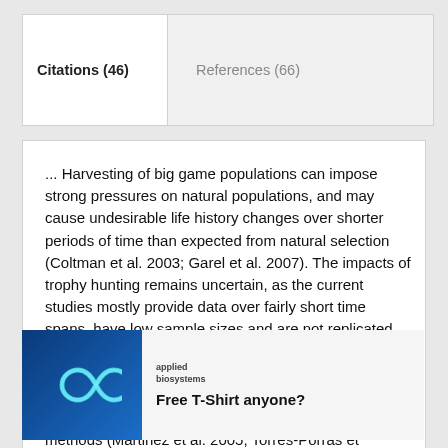Citations (46)
References (66)
... Harvesting of big game populations can impose strong pressures on natural populations, and may cause undesirable life history changes over shorter periods of time than expected from natural selection (Coltman et al. 2003; Garel et al. 2007). The impacts of trophy hunting remains uncertain, as the current studies mostly provide data over fairly short time spans, have low sample sizes and are not replicated time series (Rivrud et al., 2013). As data from long-term monitoring are rare and hard to obtain in harvested populations, patterns of harvesting selection in ungulates have been studied by comparing hunting methods (Martinez et al. 2005; Torres-Porras et
[Figure (illustration): Advertisement showing an infinity symbol on blue background with Applied Biosystems logo and text 'Free T-Shirt anyone?']